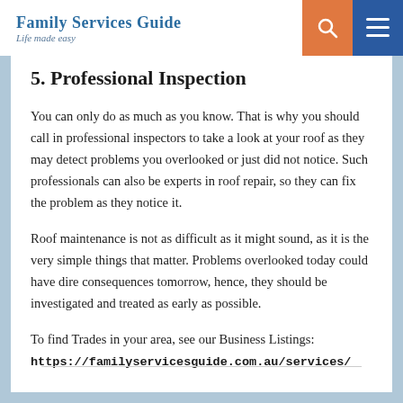Family Services Guide — Life made easy
5. Professional Inspection
You can only do as much as you know. That is why you should call in professional inspectors to take a look at your roof as they may detect problems you overlooked or just did not notice. Such professionals can also be experts in roof repair, so they can fix the problem as they notice it.
Roof maintenance is not as difficult as it might sound, as it is the very simple things that matter. Problems overlooked today could have dire consequences tomorrow, hence, they should be investigated and treated as early as possible.
To find Trades in your area, see our Business Listings: https://familyservicesguide.com.au/services/